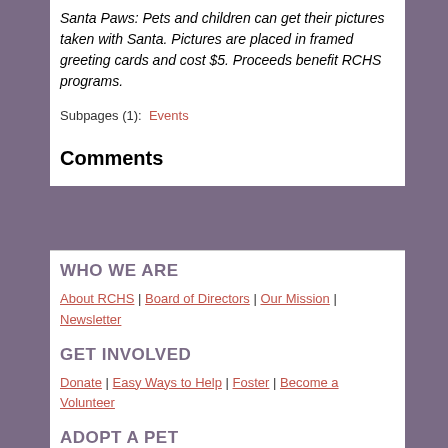Santa Paws: Pets and children can get their pictures taken with Santa. Pictures are placed in framed greeting cards and cost $5. Proceeds benefit RCHS programs.
Subpages (1): Events
Comments
WHO WE ARE
About RCHS | Board of Directors | Our Mission | Newsletter
GET INVOLVED
Donate | Easy Ways to Help | Foster | Become a Volunteer
ADOPT A PET
How To Adopt
Available Animals
Cats | Dogs | Birds | Bunnies | Small &